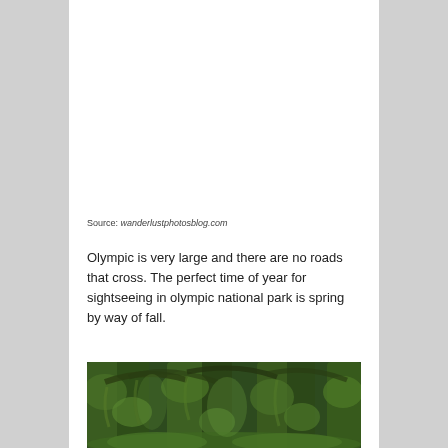Source: wanderlustphotosblog.com
Olympic is very large and there are no roads that cross. The perfect time of year for sightseeing in olympic national park is spring by way of fall.
[Figure (photo): Dense mossy forest with large moss-covered tree trunks and arching branches, green foliage throughout, Hoh Rain Forest style environment in Olympic National Park]